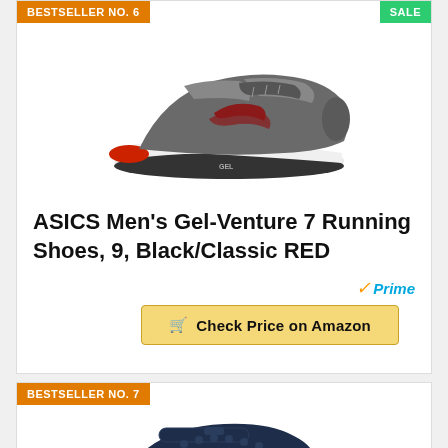BESTSELLER NO. 6
SALE
[Figure (photo): ASICS Men's Gel-Venture 7 running shoe in gray/black/red colorway, side view showing the sole and upper]
ASICS Men's Gel-Venture 7 Running Shoes, 9, Black/Classic RED
Prime
Check Price on Amazon
BESTSELLER NO. 7
[Figure (photo): Crocs clog shoe in navy/dark blue color, partially visible at bottom of page]